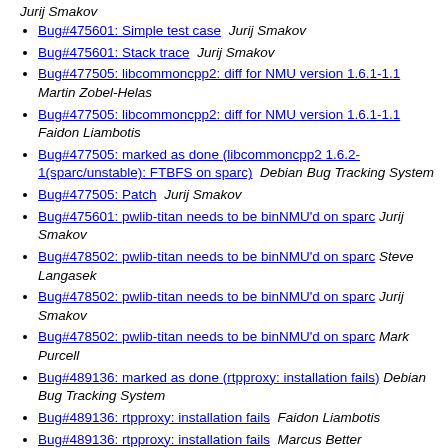Jurij Smakov
Bug#475601: Simple test case  Jurij Smakov
Bug#475601: Stack trace  Jurij Smakov
Bug#477505: libcommoncpp2: diff for NMU version 1.6.1-1.1  Martin Zobel-Helas
Bug#477505: libcommoncpp2: diff for NMU version 1.6.1-1.1  Faidon Liambotis
Bug#477505: marked as done (libcommoncpp2 1.6.2-1(sparc/unstable): FTBFS on sparc)  Debian Bug Tracking System
Bug#477505: Patch  Jurij Smakov
Bug#475601: pwlib-titan needs to be binNMU'd on sparc  Jurij Smakov
Bug#478502: pwlib-titan needs to be binNMU'd on sparc  Steve Langasek
Bug#478502: pwlib-titan needs to be binNMU'd on sparc  Jurij Smakov
Bug#478502: pwlib-titan needs to be binNMU'd on sparc  Mark Purcell
Bug#489136: marked as done (rtpproxy: installation fails)  Debian Bug Tracking System
Bug#489136: rtpproxy: installation fails  Faidon Liambotis
Bug#489136: rtpproxy: installation fails  Marcus Better
Bug#491310: asterisk: Problem not solved by downgrade  Christoph Kling